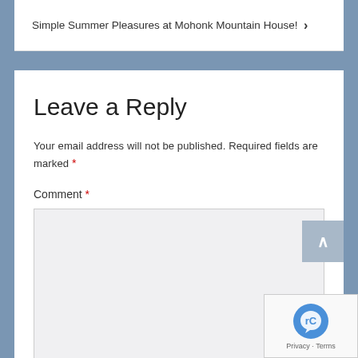Simple Summer Pleasures at Mohonk Mountain House! ›
Leave a Reply
Your email address will not be published. Required fields are marked *
Comment *
[Figure (other): reCAPTCHA logo with Privacy and Terms links]